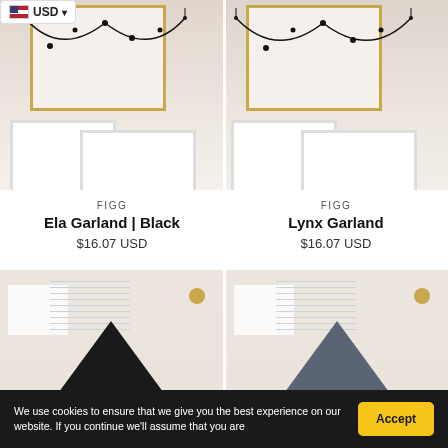[Figure (screenshot): Currency selector badge showing US flag and USD with dropdown arrow]
[Figure (photo): Product photo of Ela Garland Black - decorative black garland hanging on framed artwork on a shelf]
[Figure (photo): Product photo of Lynx Garland - decorative garland on framed artwork on a shelf]
FIGG
Ela Garland | Black
$16.07 USD
FIGG
Lynx Garland
$16.07 USD
[Figure (photo): Product photo showing a black triangle geometric decor piece on a white shelf]
[Figure (photo): Product photo showing a grey triangle geometric decor piece on a white shelf]
We use cookies to ensure that we give you the best experience on our website. If you continue we'll assume that you are
Accept